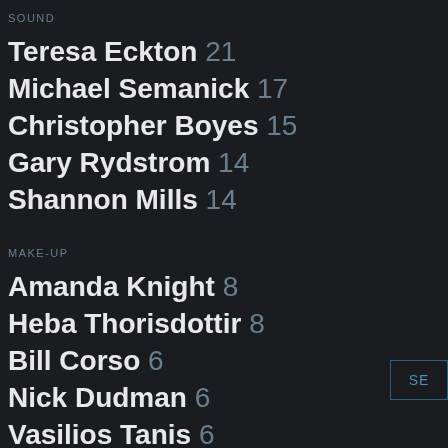SOUND
Teresa Eckton 21
Michael Semanick 17
Christopher Boyes 15
Gary Rydstrom 14
Shannon Mills 14
MAKE-UP
Amanda Knight 8
Heba Thorisdottir 8
Bill Corso 6
Nick Dudman 6
Vasilios Tanis 6